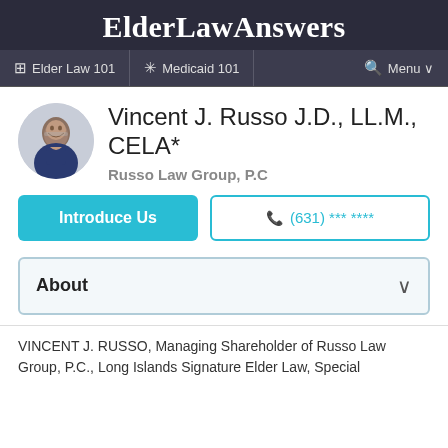ElderLawAnswers
Elder Law 101   Medicaid 101   Menu
Vincent J. Russo J.D., LL.M., CELA*
Russo Law Group, P.C
Introduce Us
(631) *** ****
About
VINCENT J. RUSSO, Managing Shareholder of Russo Law Group, P.C., Long Islands Signature Elder Law, Special